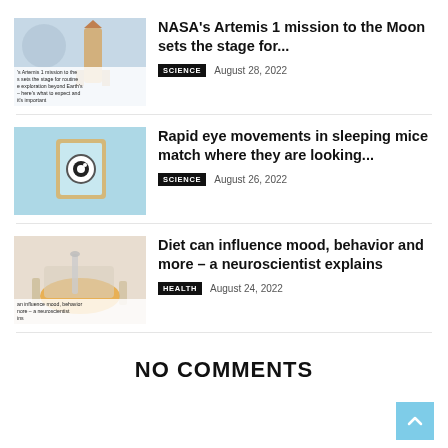[Figure (photo): Thumbnail image for NASA Artemis 1 article with overlay text]
NASA's Artemis 1 mission to the Moon sets the stage for...
SCIENCE   August 28, 2022
[Figure (photo): Thumbnail image of a mechanical eye device on blue background for sleeping mice article]
Rapid eye movements in sleeping mice match where they are looking...
SCIENCE   August 26, 2022
[Figure (photo): Thumbnail image of food/diet scene for neuroscientist article]
Diet can influence mood, behavior and more – a neuroscientist explains
HEALTH   August 24, 2022
NO COMMENTS